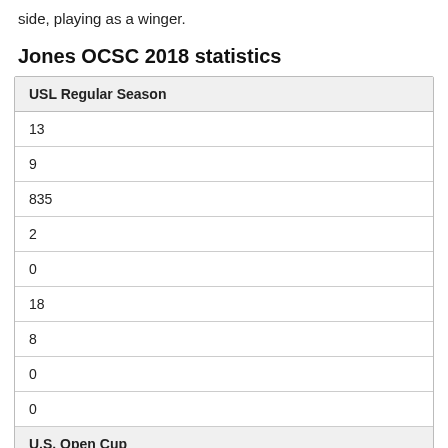side, playing as a winger.
Jones OCSC 2018 statistics
| USL Regular Season |
| --- |
| 13 |
| 9 |
| 835 |
| 2 |
| 0 |
| 18 |
| 8 |
| 0 |
| 0 |
| U.S. Open Cup |